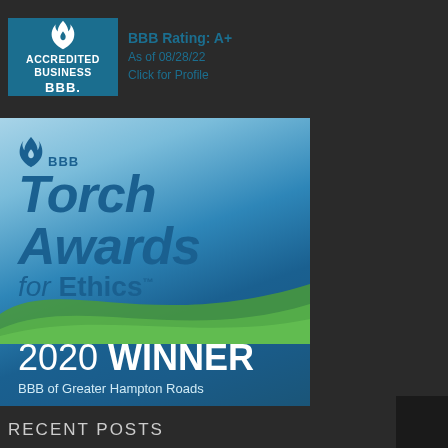[Figure (logo): BBB Accredited Business badge with teal background, flame icon, 'ACCREDITED BUSINESS' text, 'BBB.' label, and rating info: BBB Rating: A+, As of 08/28/22, Click for Profile]
[Figure (logo): BBB Torch Awards for Ethics 2020 Winner - BBB of Greater Hampton Roads. Blue gradient background with green wave, BBB flame logo, large italic blue text 'Torch Awards for Ethics', white text '2020 WINNER', subtitle 'BBB of Greater Hampton Roads']
RECENT POSTS